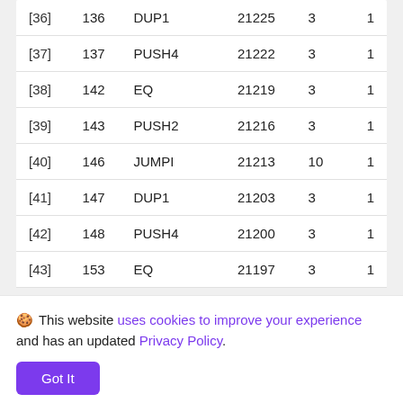| [36] | 136 | DUP1 | 21225 | 3 | 1 |
| [37] | 137 | PUSH4 | 21222 | 3 | 1 |
| [38] | 142 | EQ | 21219 | 3 | 1 |
| [39] | 143 | PUSH2 | 21216 | 3 | 1 |
| [40] | 146 | JUMPI | 21213 | 10 | 1 |
| [41] | 147 | DUP1 | 21203 | 3 | 1 |
| [42] | 148 | PUSH4 | 21200 | 3 | 1 |
| [43] | 153 | EQ | 21197 | 3 | 1 |
🍪 This website uses cookies to improve your experience and has an updated Privacy Policy.
| [47] | 283 | PUSH2 | 21180 | 3 | 1 |